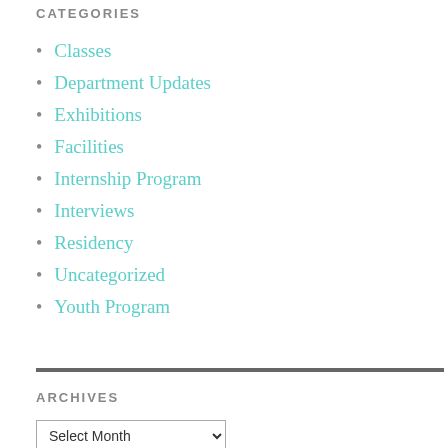CATEGORIES
Classes
Department Updates
Exhibitions
Facilities
Internship Program
Interviews
Residency
Uncategorized
Youth Program
ARCHIVES